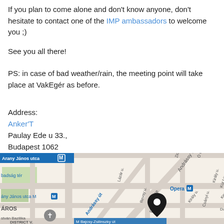If you plan to come alone and don't know anyone, don't hesitate to contact one of the IMP ambassadors to welcome you ;)
See you all there!
PS: in case of bad weather/rain, the meeting point will take place at VakEgér as before.
Address:
Anker'T
Paulay Ede u 33.,
Budapest 1062
[Figure (map): Google Maps screenshot showing the location of Anker'T on Paulay Ede utca 33, Budapest 1062, near the Opera metro station and Andrássy út. A black map pin marks the venue location.]